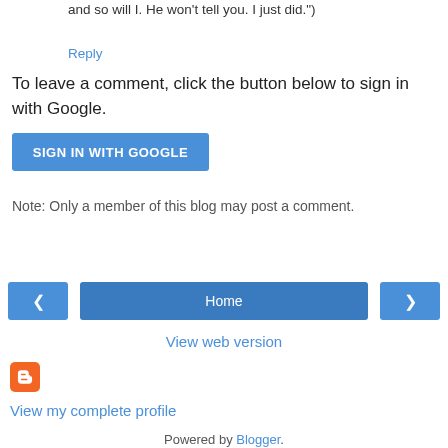and so will I. He won't tell you. I just did.")
Reply
To leave a comment, click the button below to sign in with Google.
[Figure (other): Blue 'SIGN IN WITH GOOGLE' button]
Note: Only a member of this blog may post a comment.
[Figure (other): Navigation bar with left arrow, Home button, right arrow]
View web version
[Figure (logo): Blogger orange square logo with B icon]
View my complete profile
Powered by Blogger.